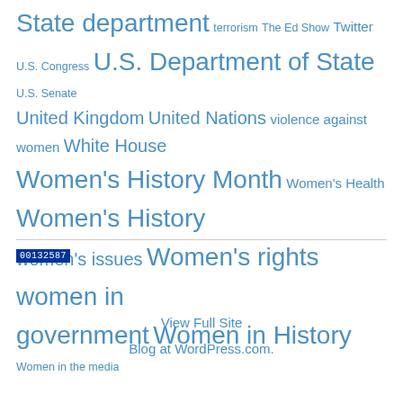State department terrorism The Ed Show Twitter U.S. Congress U.S. Department of State U.S. Senate United Kingdom United Nations violence against women White House Women's History Month Women's Health Women's History women's issues Women's rights women in government Women in History Women in the media
00132587
View Full Site
Blog at WordPress.com.